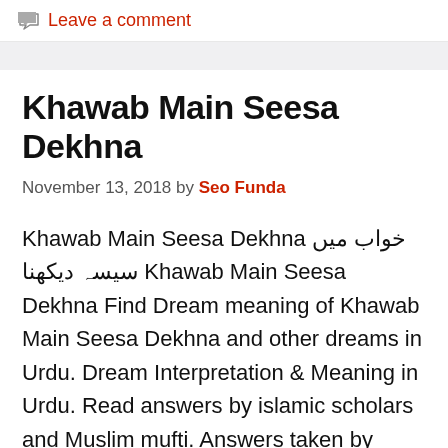Leave a comment
Khawab Main Seesa Dekhna
November 13, 2018 by Seo Funda
Khawab Main Seesa Dekhna خواب میں سیسہ دیکھنا Khawab Main Seesa Dekhna Find Dream meaning of Khawab Main Seesa Dekhna and other dreams in Urdu. Dream Interpretation & Meaning in Urdu. Read answers by islamic scholars and Muslim mufti. Answers taken by Hadees Sharif as